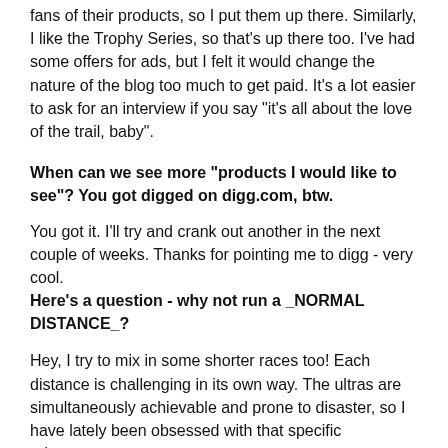fans of their products, so I put them up there. Similarly, I like the Trophy Series, so that's up there too. I've had some offers for ads, but I felt it would change the nature of the blog too much to get paid. It's a lot easier to ask for an interview if you say "it's all about the love of the trail, baby".
When can we see more "products I would like to see"? You got digged on digg.com, btw.
You got it. I'll try and crank out another in the next couple of weeks. Thanks for pointing me to digg - very cool. Here's a question - why not run a _NORMAL DISTANCE_?
Hey, I try to mix in some shorter races too! Each distance is challenging in its own way. The ultras are simultaneously achievable and prone to disaster, so I have lately been obsessed with that specific adventure.
Why did you pick the trophy series from trail runner magazine? Why not the Montrail series, fuel belt series, SoCal series, etc.?